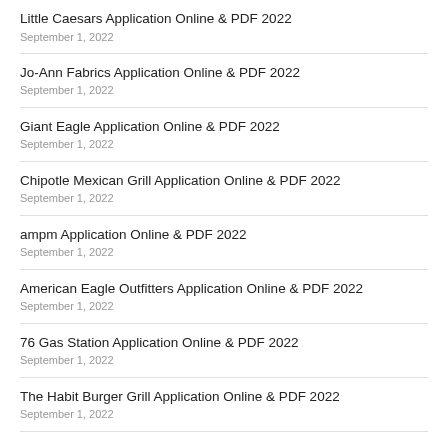Little Caesars Application Online & PDF 2022
September 1, 2022
Jo-Ann Fabrics Application Online & PDF 2022
September 1, 2022
Giant Eagle Application Online & PDF 2022
September 1, 2022
Chipotle Mexican Grill Application Online & PDF 2022
September 1, 2022
ampm Application Online & PDF 2022
September 1, 2022
American Eagle Outfitters Application Online & PDF 2022
September 1, 2022
76 Gas Station Application Online & PDF 2022
September 1, 2022
The Habit Burger Grill Application Online & PDF 2022
September 1, 2022